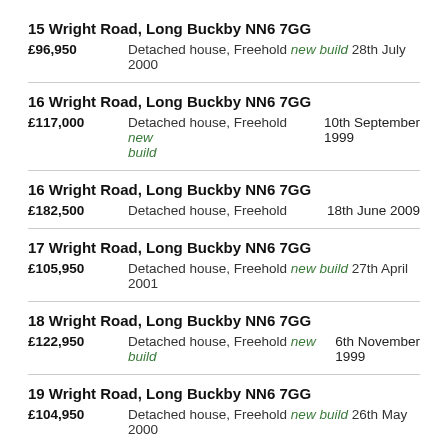15 Wright Road, Long Buckby NN6 7GG
£96,950   Detached house, Freehold new build 28th July 2000
16 Wright Road, Long Buckby NN6 7GG
£117,000   Detached house, Freehold new build   10th September 1999
16 Wright Road, Long Buckby NN6 7GG
£182,500   Detached house, Freehold   18th June 2009
17 Wright Road, Long Buckby NN6 7GG
£105,950   Detached house, Freehold new build 27th April 2001
18 Wright Road, Long Buckby NN6 7GG
£122,950   Detached house, Freehold new build   6th November 1999
19 Wright Road, Long Buckby NN6 7GG
£104,950   Detached house, Freehold new build 26th May 2000